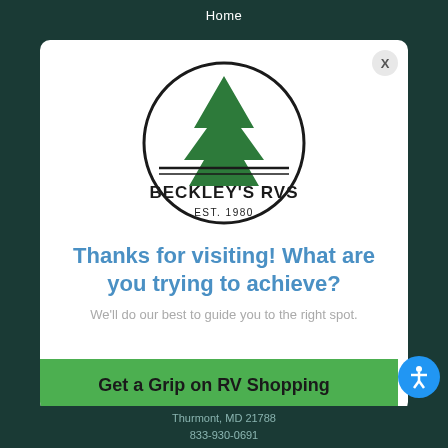Home
[Figure (logo): Beckley's RVs logo: circular badge with pine tree, text BECKLEY'S RVS and EST. 1980]
Thanks for visiting! What are you trying to achieve?
We'll do our best to guide you to the right spot.
Get a Grip on RV Shopping
Thurmont, MD 21788
833-930-0691